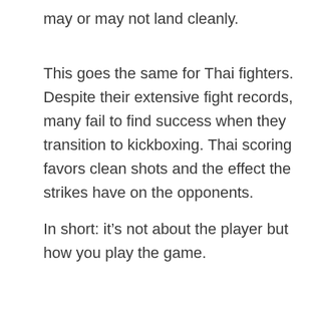may or may not land cleanly.
This goes the same for Thai fighters. Despite their extensive fight records, many fail to find success when they transition to kickboxing. Thai scoring favors clean shots and the effect the strikes have on the opponents.
In short: it’s not about the player but how you play the game.